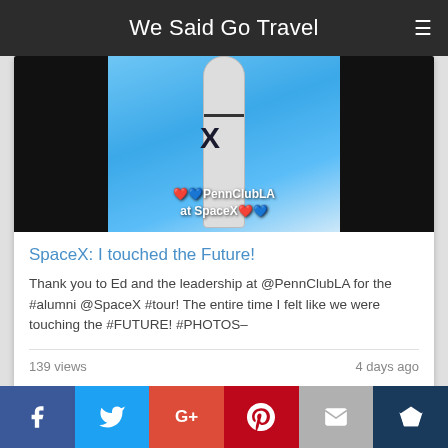We Said Go Travel
[Figure (screenshot): Photograph of a SpaceX rocket with text overlay reading PennClubLA at SpaceX with red and blue heart emojis]
SpaceX: I touched the Future!
Thank you to Ed and the leadership at @PennClubLA for the #alumni @SpaceX #tour! The entire time I felt like we were touching the #FUTURE! #PHOTOS–
139 views
4 days ago
[Figure (screenshot): Partial video thumbnail showing 0:58 duration badge and a blue rectangle overlay]
Facebook | Twitter | Google+ | Pinterest | Email | Crown